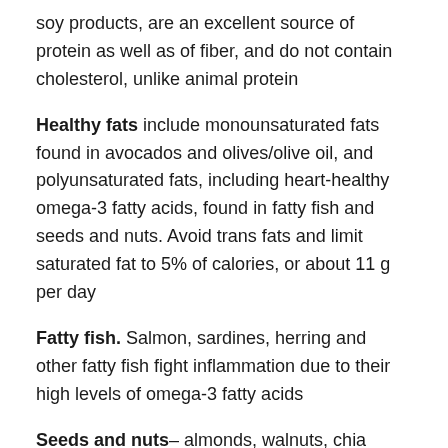soy products, are an excellent source of protein as well as of fiber, and do not contain cholesterol, unlike animal protein
Healthy fats include monounsaturated fats found in avocados and olives/olive oil, and polyunsaturated fats, including heart-healthy omega-3 fatty acids, found in fatty fish and seeds and nuts. Avoid trans fats and limit saturated fat to 5% of calories, or about 11 g per day
Fatty fish. Salmon, sardines, herring and other fatty fish fight inflammation due to their high levels of omega-3 fatty acids
Seeds and nuts– almonds, walnuts, chia seeds, ground flax seeds, are a source of omega-3 fatty acids as well as trace elements like selenium, zinc and magnesium